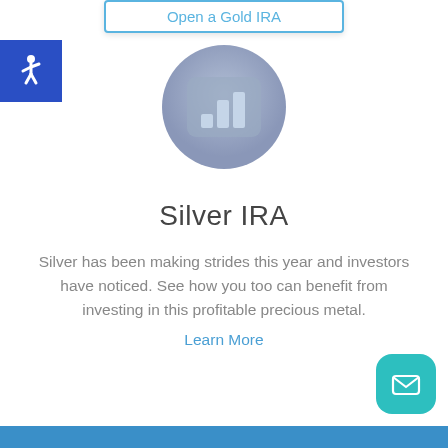[Figure (screenshot): Partial button at top reading 'Open a Gold IRA' with blue border]
[Figure (illustration): Blue square with white wheelchair accessibility icon, top-left corner]
[Figure (illustration): Circular icon with muted blue-gray background containing a bar chart icon in lighter blue, centered on page]
Silver IRA
Silver has been making strides this year and investors have noticed. See how you too can benefit from investing in this profitable precious metal.
Learn More
[Figure (illustration): Teal rounded square button with white envelope/mail icon, bottom-right corner]